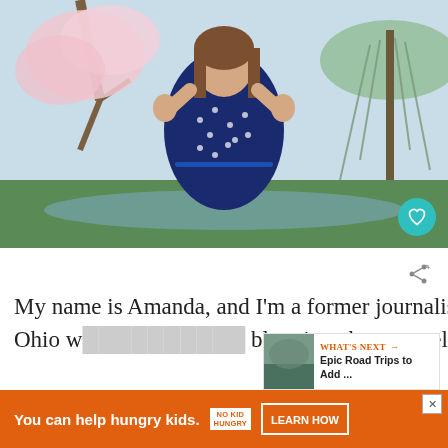[Figure (photo): A young woman with long brown hair smiling outdoors in a park, wearing a navy blue polka dot sleeveless dress with white collar. She has her hands raised with fingers spread. Background shows blooming cherry blossoms and a weeping willow tree near a pond.]
My name is Amanda, and I'm a former journalist and award-winning blogger from Ohio w… blogging about travel since 2010. I seek to inspire pe… d ways t… dy…
[Figure (photo): WHAT'S NEXT thumbnail — Epic Road Trips to Add ...]
You can help hungry kids. NO KID HUNGRY LEARN HOW